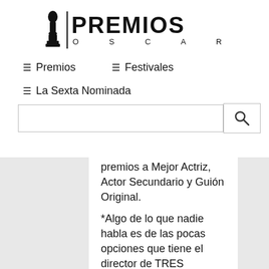[Figure (logo): Premios Oscar logo with Oscar statuette silhouette and text PREMIOS OSCAR]
☰ Premios
☰ Festivales
☰ La Sexta Nominada
premios a Mejor Actriz, Actor Secundario y Guión Original.
*Algo de lo que nadie habla es de las pocas opciones que tiene el director de TRES ANUNCIOS de